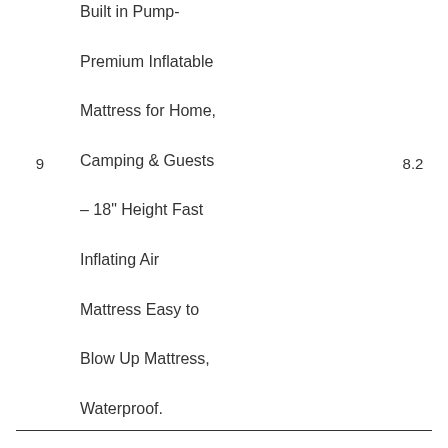9
Built in Pump- Premium Inflatable Mattress for Home, Camping & Guests – 18" Height Fast Inflating Air Mattress Easy to Blow Up Mattress, Waterproof.
8.2
iDOO Single Size Air Mattress, Inflatable Airbed